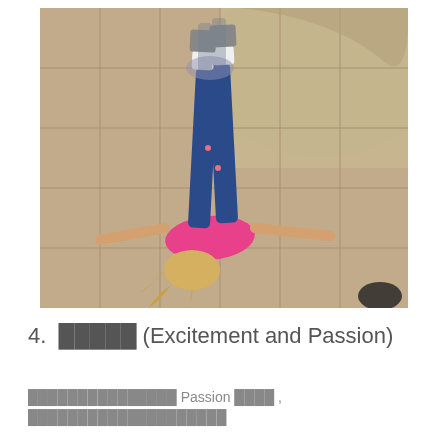[Figure (photo): A young blonde girl in a pink top and blue jeans lying on her back on a tiled floor with arms outstretched, her legs lifted up vertically. The reflection of her legs is visible in a large mirrored surface above.]
4.  ████ (Excitement and Passion)
███████████████ Passion ████ , ████████████████████